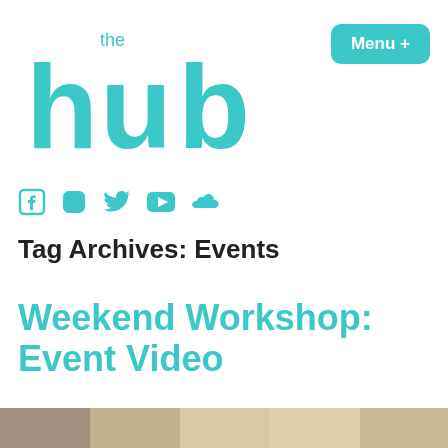[Figure (logo): The Hub logo in teal/turquoise color with 'the' in small text above 'hub' in large rounded letters]
[Figure (other): Menu + button, teal rounded rectangle with white bold text]
[Figure (other): Social media icons row: Facebook, Instagram, Twitter, YouTube, SoundCloud — all in teal]
Tag Archives: Events
Weekend Workshop: Event Video
[Figure (photo): Row of thumbnail photos at the bottom of the page]